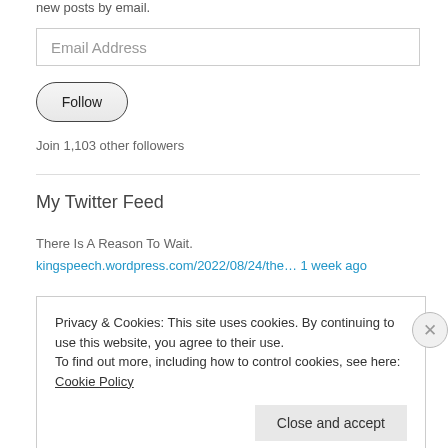new posts by email.
Email Address
Follow
Join 1,103 other followers
My Twitter Feed
There Is A Reason To Wait.
kingspeech.wordpress.com/2022/08/24/the… 1 week ago
Privacy & Cookies: This site uses cookies. By continuing to use this website, you agree to their use. To find out more, including how to control cookies, see here: Cookie Policy
Close and accept